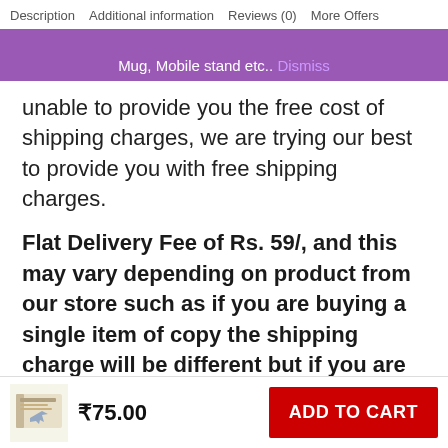Description  Additional information  Reviews (0)  More Offers
Mug, Mobile stand etc..  Dismiss
unable to provide you the free cost of shipping charges, we are trying our best to provide you with free shipping charges.
Flat Delivery Fee of Rs. 59/, and this may vary depending on product from our store such as if you are buying a single item of copy the shipping charge will be different but if you are buying a pack of 6 shipping charges will vary.
₹75.00
ADD TO CART